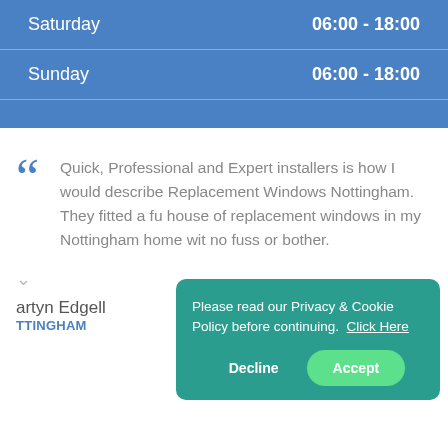| Day | Hours |
| --- | --- |
| Saturday | 06:00 - 18:00 |
| Sunday | 06:00 - 18:00 |
Quick, Professional and Expert installers is how I would describe Replacement Windows Nottingham. They fitted a full house of replacement windows in my Nottingham home with no fuss or bother.
artyn Edgell
TTINGHAM
Please read our Privacy & Cookie Policy before continuing. Click Here
Decline
Accept